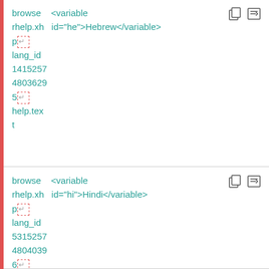browse   <variable
rhelp.xh  id="he">Hebrew</variable>
p↵
lang_id
1415257
4803629
5↵
help.tex
t
browse   <variable
rhelp.xh  id="hi">Hindi</variable>
p↵
lang_id
5315257
4804039
6↵
help.tex
t